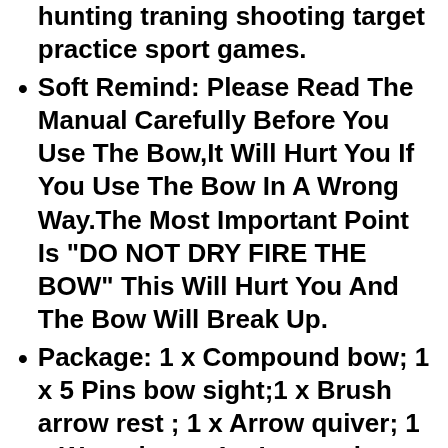hunting traning shooting target practice sport games.
Soft Remind: Please Read The Manual Carefully Before You Use The Bow,It Will Hurt You If You Use The Bow In A Wrong Way.The Most Important Point Is "DO NOT DRY FIRE THE BOW" This Will Hurt You And The Bow Will Break Up.
Package: 1 x Compound bow; 1 x 5 Pins bow sight;1 x Brush arrow rest ; 1 x Arrow quiver; 1 x Wrench set; 1 x Instructions; 1 x